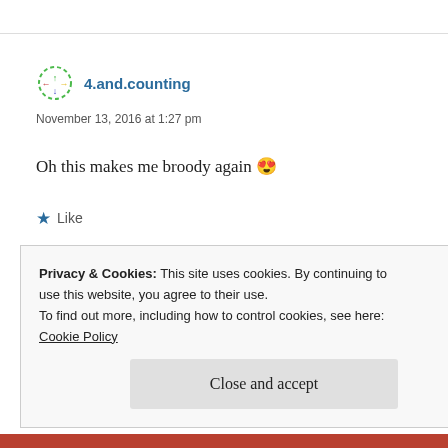4.and.counting
November 13, 2016 at 1:27 pm
Oh this makes me broody again 😍
★ Like
Reply
Privacy & Cookies: This site uses cookies. By continuing to use this website, you agree to their use.
To find out more, including how to control cookies, see here:
Cookie Policy
Close and accept